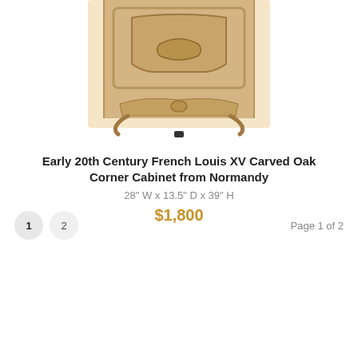[Figure (photo): Partial view of an Early 20th Century French Louis XV Carved Oak Corner Cabinet from Normandy, showing the lower portion with ornate carved panels, scrolled legs, and natural oak finish.]
Early 20th Century French Louis XV Carved Oak Corner Cabinet from Normandy
28" W x 13.5" D x 39" H
$1,800
1  2  Page 1 of 2